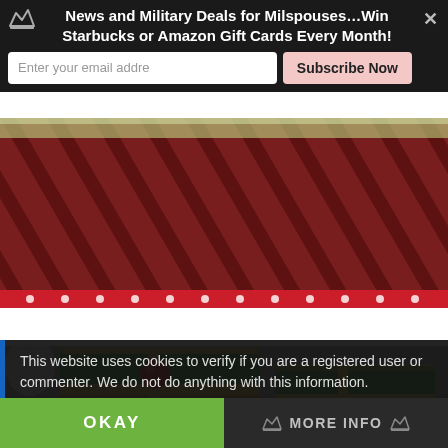News and Military Deals for Milspouses…Win Starbucks or Amazon Gift Cards Every Month!
Enter your email addre
Subscribe Now
[Figure (photo): Close-up of red wrapped gift box with diagonal stripe pattern wrapping paper, pale green tape strip at top, red polka-dot strip at bottom]
[Figure (photo): Christmas gift boxes decorated with green paper, gold trim/ribbon, red ornament ball, and Christmas tree decorations on tile floor with white lamp visible]
This website uses cookies to verify if you are a registered user or commenter. We do not do anything with this information.
OKAY
MORE INFO